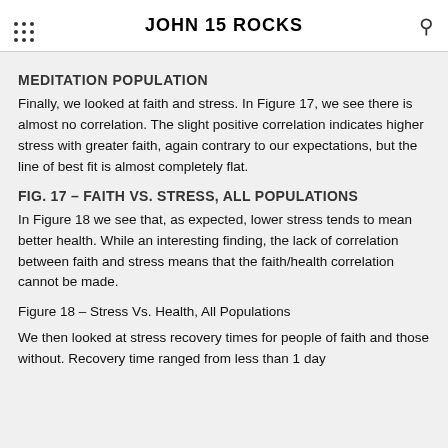JOHN 15 ROCKS
MEDITATION POPULATION
Finally, we looked at faith and stress. In Figure 17, we see there is almost no correlation. The slight positive correlation indicates higher stress with greater faith, again contrary to our expectations, but the line of best fit is almost completely flat.
FIG. 17 – FAITH VS. STRESS, ALL POPULATIONS
In Figure 18 we see that, as expected, lower stress tends to mean better health. While an interesting finding, the lack of correlation between faith and stress means that the faith/health correlation cannot be made.
Figure 18 – Stress Vs. Health, All Populations
We then looked at stress recovery times for people of faith and those without. Recovery time ranged from less than 1 day